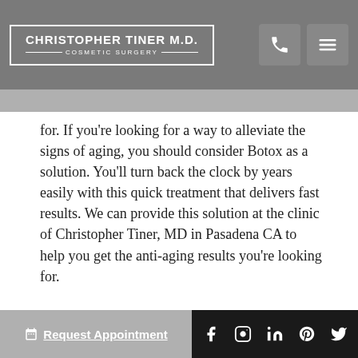CHRISTOPHER TINER M.D. COSMETIC SURGERY
for. If you’re looking for a way to alleviate the signs of aging, you should consider Botox as a solution. You’ll turn back the clock by years easily with this quick treatment that delivers fast results. We can provide this solution at the clinic of Christopher Tiner, MD in Pasadena CA to help you get the anti-aging results you’re looking for.
What Does Botox Do?
After you receive the injectable, you’ll notice
Request Appointment   f   ig   in   p   t